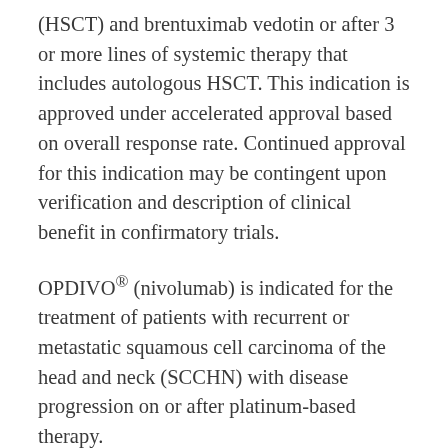(HSCT) and brentuximab vedotin or after 3 or more lines of systemic therapy that includes autologous HSCT. This indication is approved under accelerated approval based on overall response rate. Continued approval for this indication may be contingent upon verification and description of clinical benefit in confirmatory trials.
OPDIVO® (nivolumab) is indicated for the treatment of patients with recurrent or metastatic squamous cell carcinoma of the head and neck (SCCHN) with disease progression on or after platinum-based therapy.
OPDIVO® (nivolumab) is indicated for the treatment of patients with locally advanced or metastatic urothelial carcinoma who have disease progression